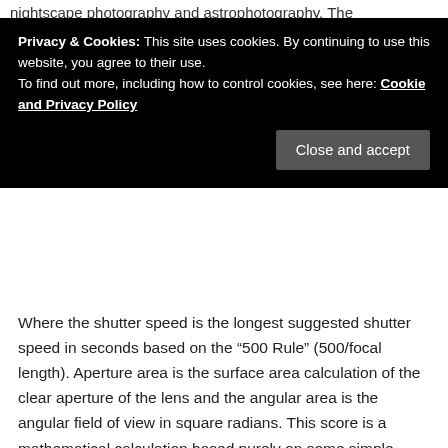nightscape photography and astrophotography. The
Privacy & Cookies: This site uses cookies. By continuing to use this website, you agree to their use.
To find out more, including how to control cookies, see here: Cookie and Privacy Policy
Close and accept
Where the shutter speed is the longest suggested shutter speed in seconds based on the “500 Rule” (500/focal length). Aperture area is the surface area calculation of the clear aperture of the lens and the angular area is the angular field of view in square radians. This score is a mathematical calculation based purely on some simple physics. It doesn’t account for other considerations like the lens’s build quality or optical aberrations but it’s a good gauge of overall light gathering capability.  You can also see the complete list of scores here, complete with calculations and further